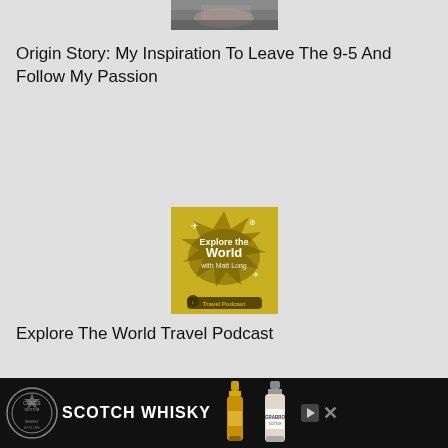[Figure (photo): Partial view of an animal photo at the top (cropped, showing fur/animal detail)]
Origin Story: My Inspiration To Leave The 9-5 And Follow My Passion
[Figure (logo): Yellow square podcast logo: 'Explore the World with Matt Long' travel podcast badge with globe, plane, and landmark icons]
Explore The World Travel Podcast
[Figure (photo): Partial photo of icy arctic/Icelandic glacial lagoon with blue water, ice chunks and cloudy sky]
[Figure (infographic): Advertisement bar at bottom: black background with a circular badge/seal logo, text SCOTCH WHISKY, and two whisky bottles (one golden, one labeled GRABRO). Close and X buttons visible.]